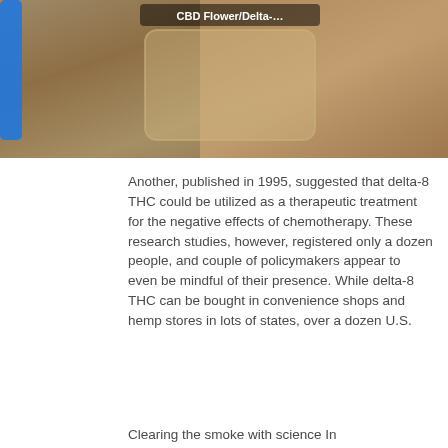[Figure (photo): A hand with blue painted nails holding a small glass container labeled 'CBD Flower/Delta-8', photographed from above.]
Another, published in 1995, suggested that delta-8 THC could be utilized as a therapeutic treatment for the negative effects of chemotherapy. These research studies, however, registered only a dozen people, and couple of policymakers appear to even be mindful of their presence. While delta-8 THC can be bought in convenience shops and hemp stores in lots of states, over a dozen U.S.
Clearing the smoke with science In